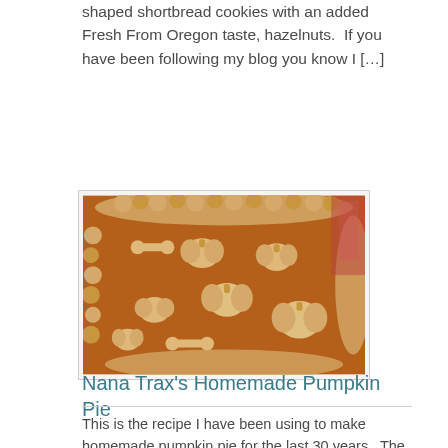shaped shortbread cookies with an added Fresh From Oregon taste, hazelnuts.  If you have been following my blog you know I […]
[Figure (photo): Close-up photo of a homemade pumpkin pie topped with decorative pastry cutouts in shapes of pumpkins and characters, with a crimped pie crust border.]
Nana Trax's Homemade Pumpkin Pie
This is the recipe I have been using to make homemade pumpkin pie for the last 30 years.  The recipe came from